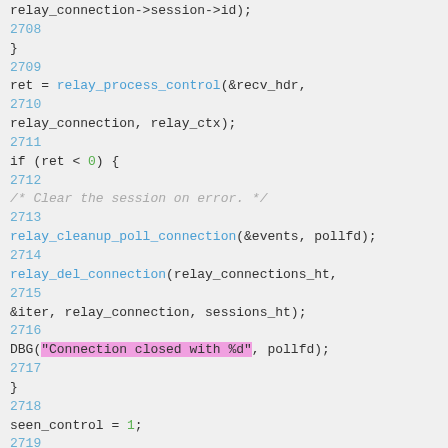Source code snippet showing C code lines 2708-2719 with syntax highlighting including relay_process_control, relay_cleanup_poll_connection, relay_del_connection, DBG with string 'Connection closed with %d', and seen_control = 1.